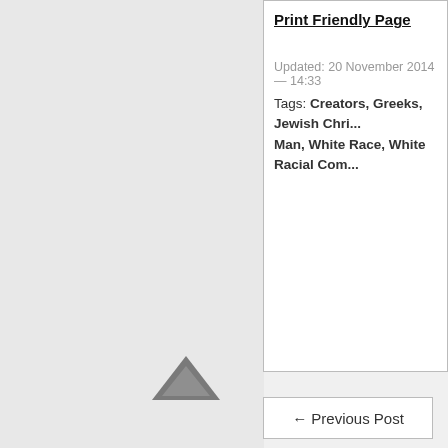Print Friendly Page
Updated: 20 November 2014 — 14:33
Tags: Creators, Greeks, Jewish Chri... Man, White Race, White Racial Com...
← Previous Post
Church Links
Join Our Church
Creator Skype Chat
Creator Forum
Creator Forum RSS Feed
CA-TV
Creativity Storefront
Holy Books
The Creativity Alliance Handb...
00. The Little White Book
01. Nature's Eternal Religion
02. The White Man's Bible
03. A Revolution of Values
04. Expanding Creativity